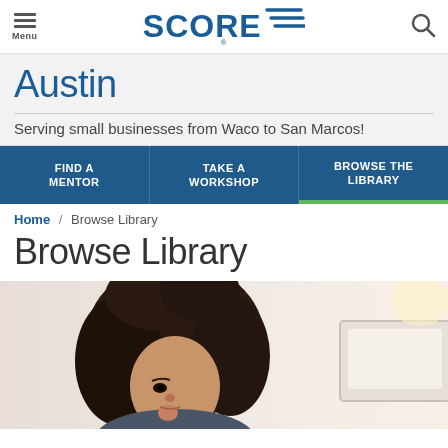Menu | SCORE | Search
Austin
Serving small businesses from Waco to San Marcos!
FIND A MENTOR | TAKE A WORKSHOP | BROWSE THE LIBRARY
Home / Browse Library
Browse Library
[Figure (photo): Woman with curly hair looking at a computer monitor, browsing library content on the SCORE Austin website]